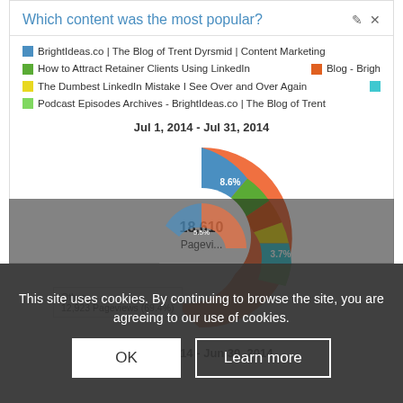Which content was the most popular?
[Figure (donut-chart): Jul 1, 2014 - Jul 31, 2014]
Other
12,923 Pageviews (69.4%)
[Figure (donut-chart): Partially visible donut chart at bottom of page, obscured by cookie overlay]
This site uses cookies. By continuing to browse the site, you are agreeing to our use of cookies.
OK
Learn more